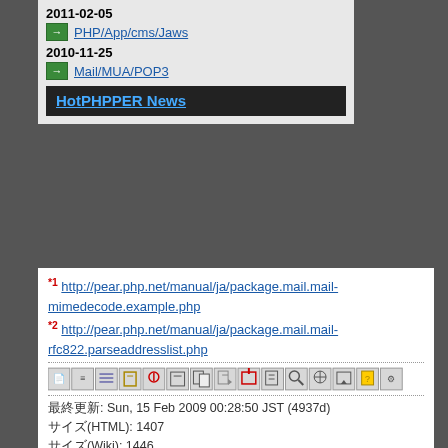2011-02-05
PHP/App/cms/Jaws
2010-11-25
Mail/MUA/POP3
HotPHPPER News
*1 http://pear.php.net/manual/ja/package.mail.mail-mimedecode.example.php
*2 http://pear.php.net/manual/ja/package.mail.mail-rfc822.parseaddresslist.php
[Figure (other): Wiki toolbar icons]
最終更新: Sun, 15 Feb 2009 00:28:50 JST (4937d)
サイズ(HTML): 1407
サイズ(Wiki): 1446
ページのアクセス数 ELF
PukiWiki 1.4.5_1 Copyright © 2001-2005 PukiWiki Developers Team. License is GPL.
Based on "PukiWiki" 1.3 by yu-ji
Powered by PHP 5.6.8
HTML convert time to 0.024 sec.